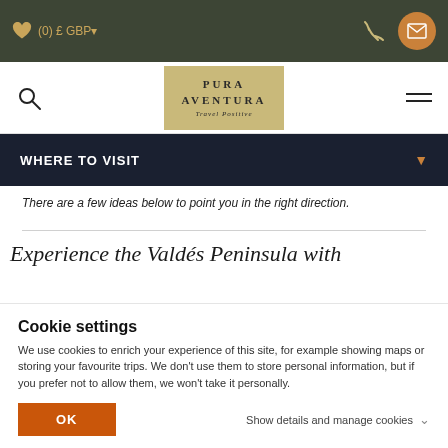(0) £ GBP
[Figure (logo): Pura Aventura Travel Positive logo in golden/tan box]
WHERE TO VISIT
There are a few ideas below to point you in the right direction.
Experience the Valdés Peninsula with
Cookie settings
We use cookies to enrich your experience of this site, for example showing maps or storing your favourite trips. We don't use them to store personal information, but if you prefer not to allow them, we won't take it personally.
OK
Show details and manage cookies